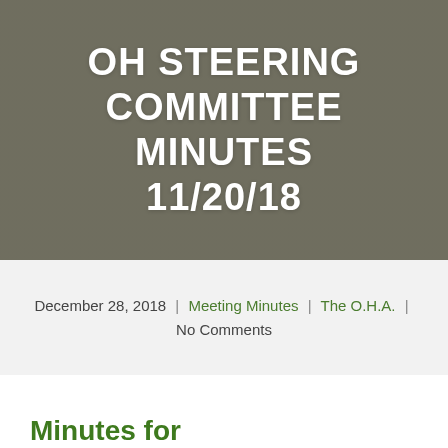OH STEERING COMMITTEE MINUTES 11/20/18
December 28, 2018 | Meeting Minutes | The O.H.A. | No Comments
Minutes for